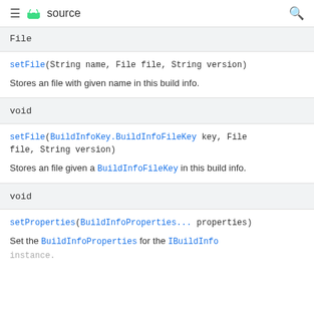≡ source  🔍
File
setFile(String name, File file, String version)
Stores an file with given name in this build info.
void
setFile(BuildInfoKey.BuildInfoFileKey key, File file, String version)
Stores an file given a BuildInfoFileKey in this build info.
void
setProperties(BuildInfoProperties... properties)
Set the BuildInfoProperties for the IBuildInfo instance.